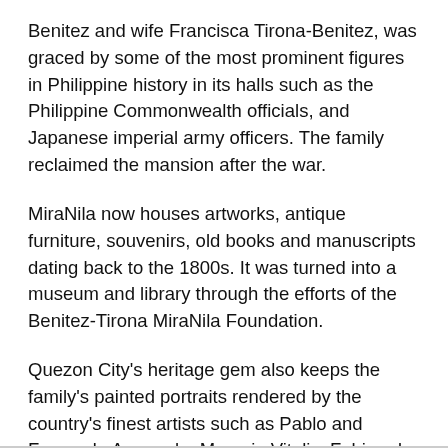Benitez and wife Francisca Tirona-Benitez, was graced by some of the most prominent figures in Philippine history in its halls such as the Philippine Commonwealth officials, and Japanese imperial army officers. The family reclaimed the mansion after the war.
MiraNila now houses artworks, antique furniture, souvenirs, old books and manuscripts dating back to the 1800s. It was turned into a museum and library through the efforts of the Benitez-Tirona MiraNila Foundation.
Quezon City's heritage gem also keeps the family's painted portraits rendered by the country's finest artists such as Pablo and Fernando Amorsolo, Macario Vitalis, Fabian de la Rosa, Simon Flores, Antonio Malantic, and Diosdado M. Lorenzo.